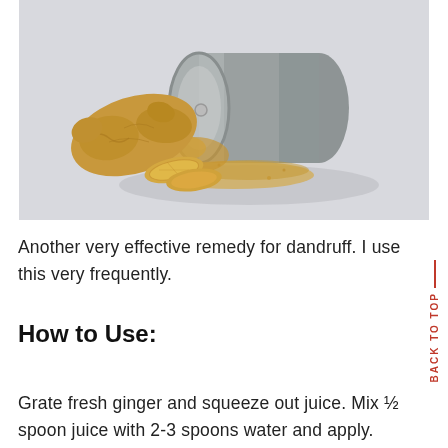[Figure (photo): A metal cylindrical tin/container lying on its side with ground ginger powder spilling out, alongside a piece of fresh ginger root and sliced ginger pieces on a light gray background.]
Another very effective remedy for dandruff. I use this very frequently.
How to Use:
Grate fresh ginger and squeeze out juice. Mix ½ spoon juice with 2-3 spoons water and apply.